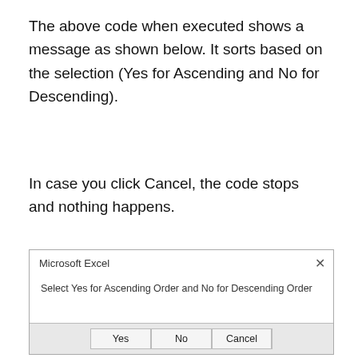The above code when executed shows a message as shown below. It sorts based on the selection (Yes for Ascending and No for Descending).
In case you click Cancel, the code stops and nothing happens.
[Figure (screenshot): Microsoft Excel dialog box with message 'Select Yes for Ascending Order and No for Descending Order' and three buttons: Yes, No, Cancel]